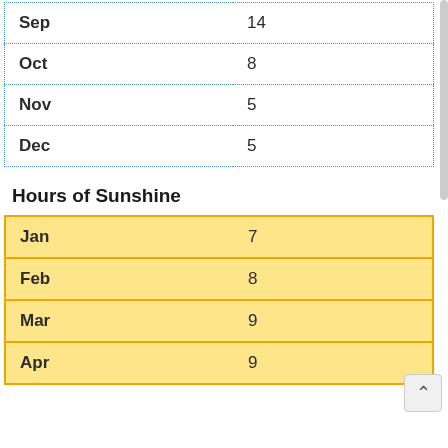| Month | Value |
| --- | --- |
| Sep | 14 |
| Oct | 8 |
| Nov | 5 |
| Dec | 5 |
Hours of Sunshine
| Month | Value |
| --- | --- |
| Jan | 7 |
| Feb | 8 |
| Mar | 9 |
| Apr | 9 |